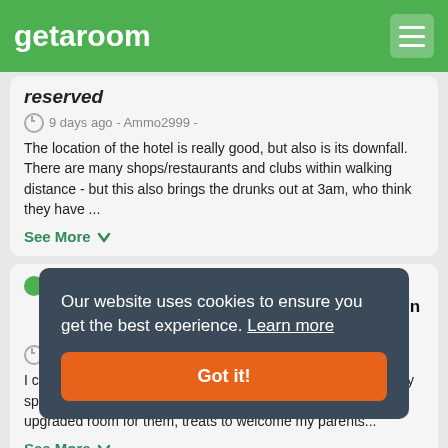getaroom
reserved
9 days ago - Ammo2999 -
The location of the hotel is really good, but also is its downfall. There are many shops/restaurants and clubs within walking distance - but this also brings the drunks out at 3am, who think they have ...
See More
“Special celebration made even more special by the staff at Hilton Cardiff”
14 days ago - alisoneVST36R5 - Columbus, Ohio
I can’t fault this hotel at all! Hilton Cardiff recently hosted a very special celebration. From communication beforehand, the upgraded room for them, treats to welcome my parents...
See More
Our website uses cookies to ensure you get the best experience. Learn more
Got it!